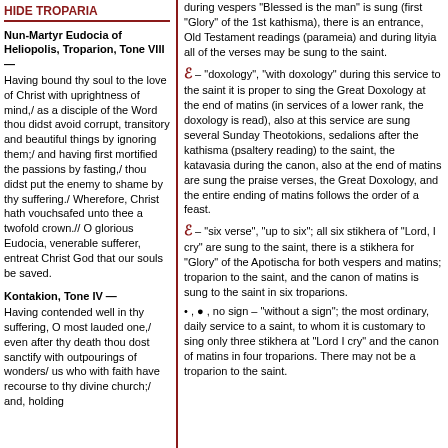HIDE TROPARIA
Nun-Martyr Eudocia of Heliopolis, Troparion, Tone VIII —
Having bound thy soul to the love of Christ with uprightness of mind,/ as a disciple of the Word thou didst avoid corrupt, transitory and beautiful things by ignoring them;/ and having first mortified the passions by fasting,/ thou didst put the enemy to shame by thy suffering./ Wherefore, Christ hath vouchsafed unto thee a twofold crown.// O glorious Eudocia, venerable sufferer, entreat Christ God that our souls be saved.
Kontakion, Tone IV —
Having contended well in thy suffering, O most lauded one,/ even after thy death thou dost sanctify with outpourings of wonders/ us who with faith have recourse to thy divine church;/ and, holding
during vespers "Blessed is the man" is sung (first "Glory" of the 1st kathisma), there is an entrance, Old Testament readings (parameia) and during lityia all of the verses may be sung to the saint.
ℰ – "doxology", "with doxology" during this service to the saint it is proper to sing the Great Doxology at the end of matins (in services of a lower rank, the doxology is read), also at this service are sung several Sunday Theotokions, sedalions after the kathisma (psaltery reading) to the saint, the katavasia during the canon, also at the end of matins are sung the praise verses, the Great Doxology, and the entire ending of matins follows the order of a feast.
ℰ – "six verse", "up to six"; all six stikhera of "Lord, I cry" are sung to the saint, there is a stikhera for "Glory" of the Apotischa for both vespers and matins; troparion to the saint, and the canon of matins is sung to the saint in six troparions.
• , • , no sign – "without a sign"; the most ordinary, daily service to a saint, to whom it is customary to sing only three stikhera at "Lord I cry" and the canon of matins in four troparions. There may not be a troparion to the saint.